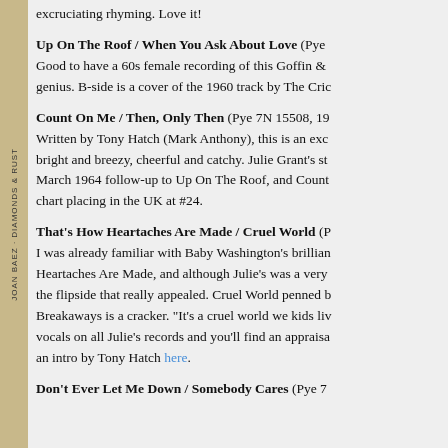excruciating rhyming. Love it!
Up On The Roof / When You Ask About Love (Pye Good to have a 60s female recording of this Goffin & genius. B-side is a cover of the 1960 track by The Cric
Count On Me / Then, Only Then (Pye 7N 15508, 19 Written by Tony Hatch (Mark Anthony), this is an exc bright and breezy, cheerful and catchy. Julie Grant's st March 1964 follow-up to Up On The Roof, and Count chart placing in the UK at #24.
That's How Heartaches Are Made / Cruel World (P I was already familiar with Baby Washington's brillian Heartaches Are Made, and although Julie's was a very the flipside that really appealed. Cruel World penned b Breakaways is a cracker. "It's a cruel world we kids li vocals on all Julie's records and you'll find an appraisa an intro by Tony Hatch here.
Don't Ever Let Me Down / Somebody Cares (Pye 7